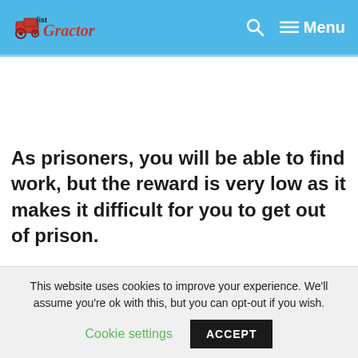Glist Tractor — Menu
As prisoners, you will be able to find work, but the reward is very low as it makes it difficult for you to get out of prison.
This website uses cookies to improve your experience. We'll assume you're ok with this, but you can opt-out if you wish. Cookie settings ACCEPT